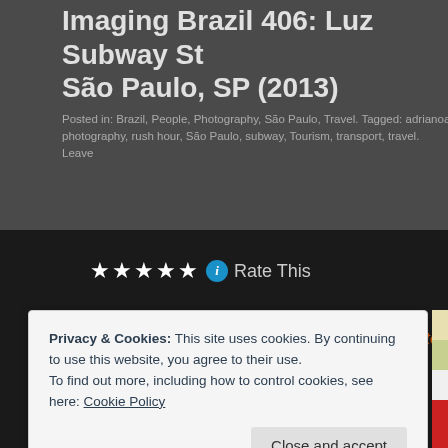Imaging Brazil 406: Luz Subway St São Paulo, SP (2013)
Posted in: Brazil, People, Photography, São Paulo, Travel. Tagged: adrianoa photography, rush hour, São Paulo, subway, Tourism, transport, travel. Leave
[Figure (screenshot): Five white star rating icons followed by a blue info circle icon and 'Rate This' label on dark background]
A personal selection of photographs with their stories
406: Waiting to enter the subway service
Privacy & Cookies: This site uses cookies. By continuing to use this website, you agree to their use.
To find out more, including how to control cookies, see here: Cookie Policy
Close and accept